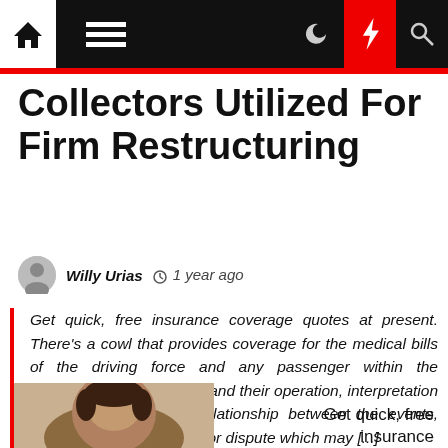Navigation bar with home, menu, moon, lightning, and search icons
Collectors Utilized For Firm Restructuring
Willy Urias  1 year ago
Get quick, free insurance coverage quotes at present. There's a cowl that provides coverage for the medical bills of the driving force and any passenger within the automobile. These Terms and their operation, interpretation or formation, and the relationship between the events, together with any declare or dispute which may [...]
Get quick, free insurance